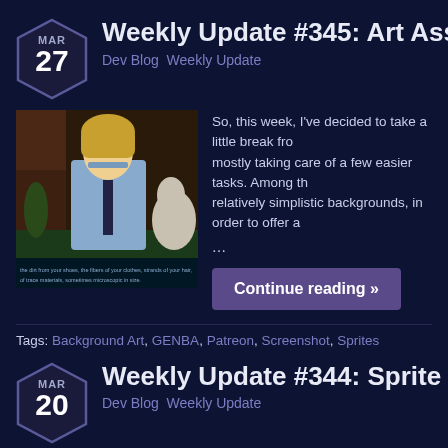Weekly Update #345: Art Asset Prog…
Dev Blog  Weekly Update
[Figure (screenshot): Anime-style game screenshot showing a blonde male character in a light blue shirt and dark tie, with a dog partially visible. Subtitle text at bottom reads about dirt from shoes, fibers of clothes, strands of hair, trace materials.]
So, this week, I've decided to take a little break fro… mostly taking care of a few easier tasks. Among th… relatively simplistic backgrounds, in order to offer a…
…
Continue reading »
Tags: Background Art, GENBA, Patreon, Screenshot, Sprites
Weekly Update #344: Sprite & CG P…
Dev Blog  Weekly Update
[Figure (screenshot): Anime-style character portrait showing a character with teal/purple hair and dark clothing against a green striped background.]
As you can see, Natsu has finished coloring some… base sprites for our two mystery witness character… continued working on during the last few days. O…